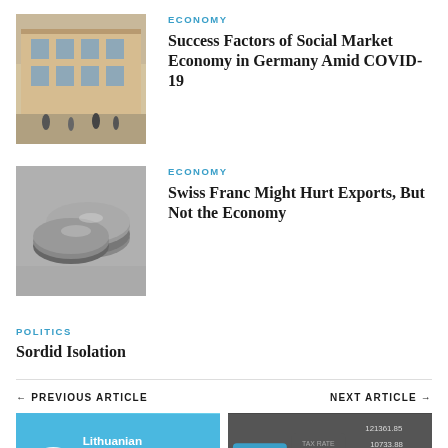[Figure (photo): Photograph of a European-style building exterior with people on the street, warm colors]
ECONOMY
Success Factors of Social Market Economy in Germany Amid COVID-19
[Figure (photo): Black and white photograph of Swiss franc coins stacked]
ECONOMY
Swiss Franc Might Hurt Exports, But Not the Economy
POLITICS
Sordid Isolation
← PREVIOUS ARTICLE        NEXT ARTICLE →
[Figure (photo): Blue background image with Lithuanian Free text and eye logo]
[Figure (photo): Calculator keys showing TAX-, TAX RATE, TAX+ with numbers 121361.85, 10733.88, 10068]